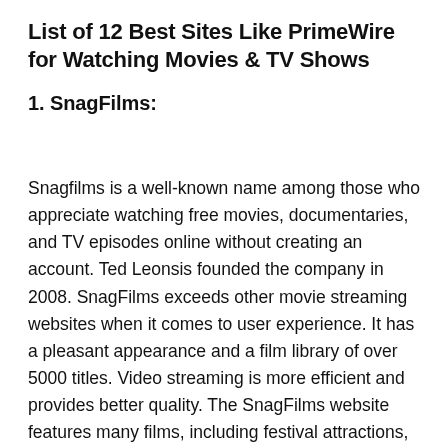List of 12 Best Sites Like PrimeWire for Watching Movies & TV Shows
1. SnagFilms:
Snagfilms is a well-known name among those who appreciate watching free movies, documentaries, and TV episodes online without creating an account. Ted Leonsis founded the company in 2008. SnagFilms exceeds other movie streaming websites when it comes to user experience. It has a pleasant appearance and a film library of over 5000 titles. Video streaming is more efficient and provides better quality. The SnagFilms website features many films, including festival attractions, historical lectures, sports achievements, world exploration, and more.